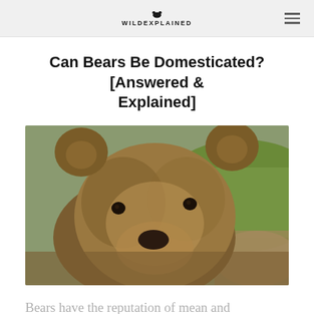WILDEXPLAINED
Can Bears Be Domesticated? [Answered & Explained]
[Figure (photo): Close-up photograph of a brown bear facing the camera, with green grass and a dirt path visible in the background.]
Bears have the reputation of mean and ferocious creatures. Yet, the truth is bears